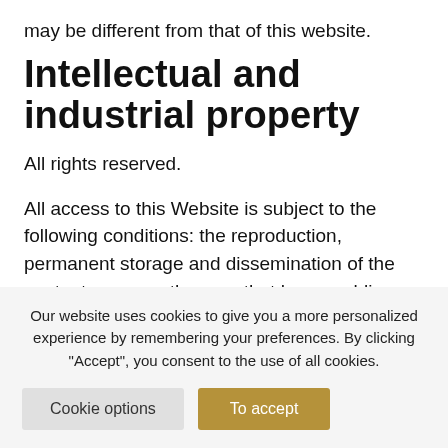may be different from that of this website.
Intellectual and industrial property
All rights reserved.
All access to this Website is subject to the following conditions: the reproduction, permanent storage and dissemination of the contents or any other use that has a public or commercial purpose is expressly
Our website uses cookies to give you a more personalized experience by remembering your preferences. By clicking "Accept", you consent to the use of all cookies.